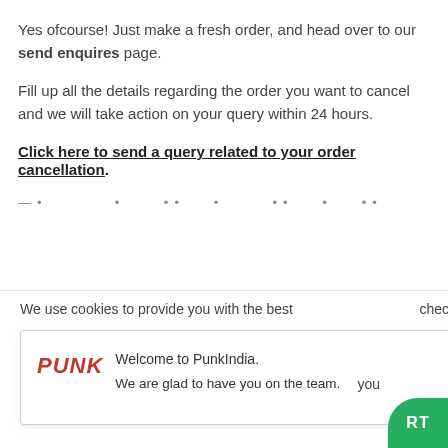Yes ofcourse! Just make a fresh order, and head over to our send enquires page.
Fill up all the details regarding the order you want to cancel and we will take action on your query within 24 hours.
Click here to send a query related to your order cancellation.
— . . . • . -• . . . -• . . . . — .
We use cookies to provide you with the best
Welcome to PunkIndia.
We are glad to have you on the team.